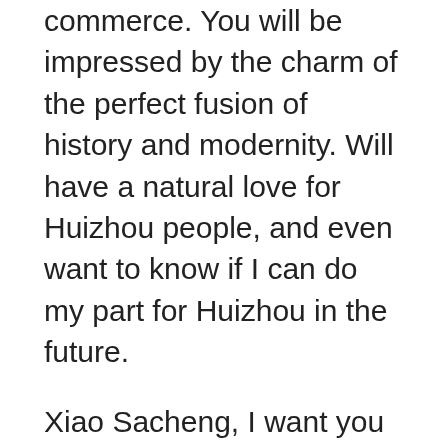commerce. You will be impressed by the charm of the perfect fusion of history and modernity. Will have a natural love for Huizhou people, and even want to know if I can do my part for Huizhou in the future.
Xiao Sacheng, I want you to know that you have to go through many adventures in your life, and the experience of studying in China is new and unique to you, and will be unforgettable for you! I want to tell you how much you will like to learn Chinese language and culture in the future. “A journey of a thousand miles begins with a single step.” Please accept China’s invitation and tell the people of